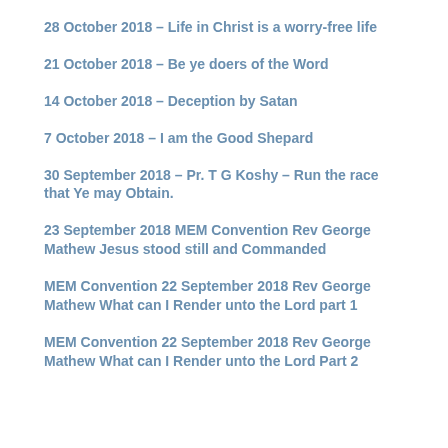28 October 2018 – Life in Christ is a worry-free life
21 October 2018 – Be ye doers of the Word
14 October 2018 – Deception by Satan
7 October 2018 – I am the Good Shepard
30 September 2018 – Pr. T G Koshy – Run the race that Ye may Obtain.
23 September 2018 MEM Convention Rev George Mathew Jesus stood still and Commanded
MEM Convention 22 September 2018 Rev George Mathew What can I Render unto the Lord part 1
MEM Convention 22 September 2018 Rev George Mathew What can I Render unto the Lord Part 2